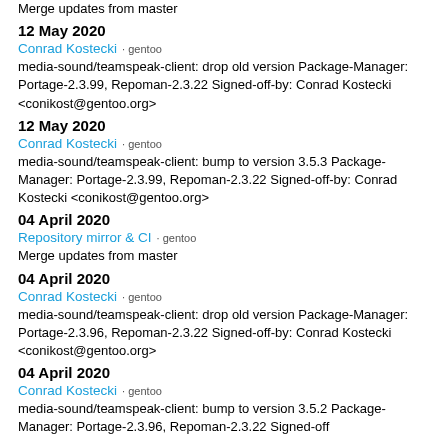Merge updates from master
12 May 2020
Conrad Kostecki · gentoo
media-sound/teamspeak-client: drop old version Package-Manager: Portage-2.3.99, Repoman-2.3.22 Signed-off-by: Conrad Kostecki <conikost@gentoo.org>
12 May 2020
Conrad Kostecki · gentoo
media-sound/teamspeak-client: bump to version 3.5.3 Package-Manager: Portage-2.3.99, Repoman-2.3.22 Signed-off-by: Conrad Kostecki <conikost@gentoo.org>
04 April 2020
Repository mirror & CI · gentoo
Merge updates from master
04 April 2020
Conrad Kostecki · gentoo
media-sound/teamspeak-client: drop old version Package-Manager: Portage-2.3.96, Repoman-2.3.22 Signed-off-by: Conrad Kostecki <conikost@gentoo.org>
04 April 2020
Conrad Kostecki · gentoo
media-sound/teamspeak-client: bump to version 3.5.2 Package-Manager: Portage-2.3.96, Repoman-2.3.22 Signed-off